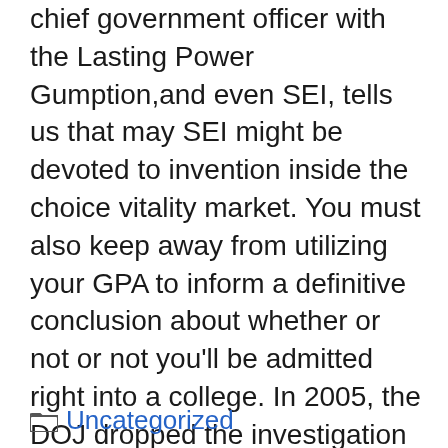chief government officer with the Lasting Power Gumption,and even SEI, tells us that may SEI might be devoted to invention inside the choice vitality market. You must also keep away from utilizing your GPA to inform a definitive conclusion about whether or not or not you'll be admitted right into a college. In 2005, the DOJ dropped the investigation and introduced there was no proof of wrongdoing, and that ITT had completely cooperated utilizing the investigation methodology. Don't be stunned on the choices she or he may lay down as a result of there are actually many techniques to perform extreme dental makeovers nowadays.
Uncategorized